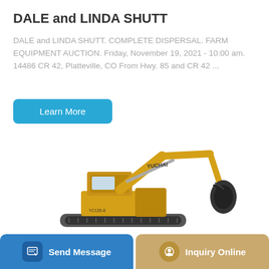DALE and LINDA SHUTT
DALE and LINDA SHUTT. COMPLETE DISPERSAL. FARM EQUIPMENT AUCTION. Friday, November 19, 2021 - 10:00 am. 14486 CR 42, Platteville, CO From Hwy. 85 and CR 42 ...
[Figure (other): Button labeled 'Learn More' in blue/teal rounded rectangle]
[Figure (photo): Yellow Yuchai excavator with extended boom and hydraulic attachment, photographed against white background]
[Figure (other): Bottom navigation bar with 'Send Message' button (blue) and 'Inquiry Online' button (tan/gold)]